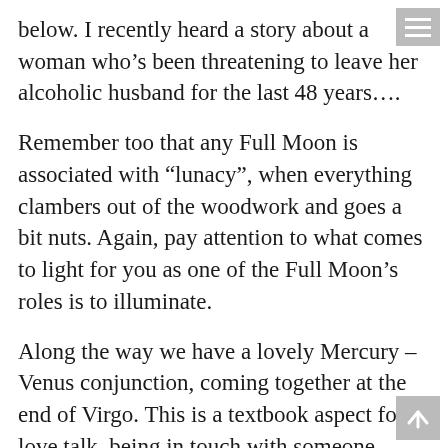below. I recently heard a story about a woman who’s been threatening to leave her alcoholic husband for the last 48 years….
Remember too that any Full Moon is associated with “lunacy”, when everything clambers out of the woodwork and goes a bit nuts. Again, pay attention to what comes to light for you as one of the Full Moon’s roles is to illuminate.
Along the way we have a lovely Mercury – Venus conjunction, coming together at the end of Virgo. This is a textbook aspect for love talk, being in touch with someone important, good news and helpful financial concerns. In this case, as the conjunction falls at the end of a sentence, the last few